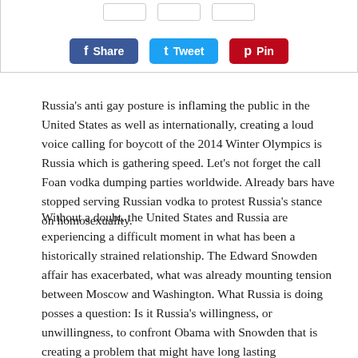[Figure (screenshot): Social sharing buttons: Facebook Share (blue), Twitter Tweet (light blue), Pinterest Pin (red), with counter bubbles above each.]
Russia's anti gay posture is inflaming the public in the United States as well as internationally, creating a loud voice calling for boycott of the 2014 Winter Olympics is Russia which is gathering speed. Let's not forget the call Foan vodka dumping parties worldwide. Already bars have stopped serving Russian vodka to protest Russia's stance on homosexuality.
Without a doubt, the United States and Russia are experiencing a difficult moment in what has been a historically strained relationship. The Edward Snowden affair has exacerbated, what was already mounting tension between Moscow and Washington. What Russia is doing posses a question: Is it Russia's willingness, or unwillingness, to confront Obama with Snowden that is creating a problem that might have long lasting consequences?